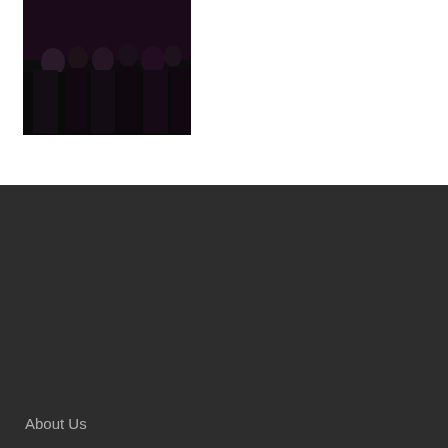[Figure (photo): A dark photograph of a group of people, appears to be a crowd or gathering, dark toned image]
About Us
Account
Contact
Subscribe
ABOUT AR/INTEL
AR/Intel is a subscription supported political news and analysis website powered by research from America Rising. Subscribers get access to a library of detailed race briefs digging into the